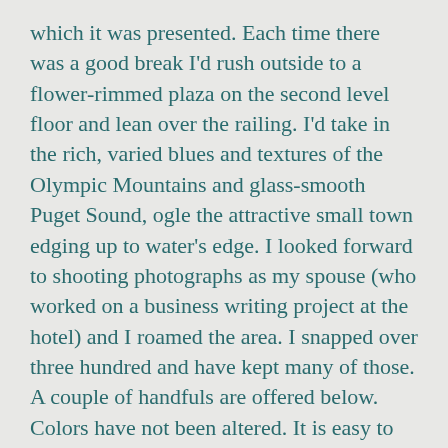which it was presented. Each time there was a good break I'd rush outside to a flower-rimmed plaza on the second level floor and lean over the railing. I'd take in the rich, varied blues and textures of the Olympic Mountains and glass-smooth Puget Sound, ogle the attractive small town edging up to water's edge. I looked forward to shooting photographs as my spouse (who worked on a business writing project at the hotel) and I roamed the area. I snapped over three hundred and have kept many of those. A couple of handfuls are offered below. Colors have not been altered. It is easy to be inspired by this Washington scenery,  here a bit wilder and more open than my home area in Oregon.